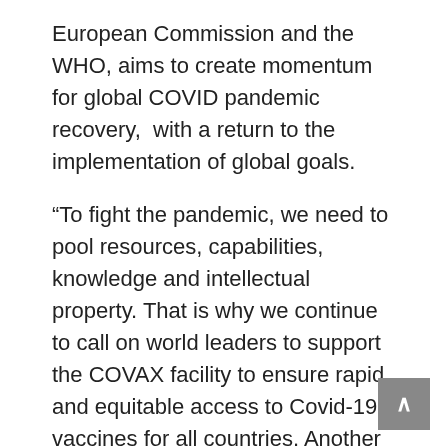European Commission and the WHO, aims to create momentum for global COVID pandemic recovery,  with a return to the implementation of global goals.
“To fight the pandemic, we need to pool resources, capabilities, knowledge and intellectual property. That is why we continue to call on world leaders to support the COVAX facility to ensure rapid and equitable access to Covid-19 vaccines for all countries. Another important step is to enable the transfer of medical technology for the duration of the pandemic,” said President Cyril Ramaphosa.
One of key medical resource is oxygen, which is in short supply in many low- and middle-income